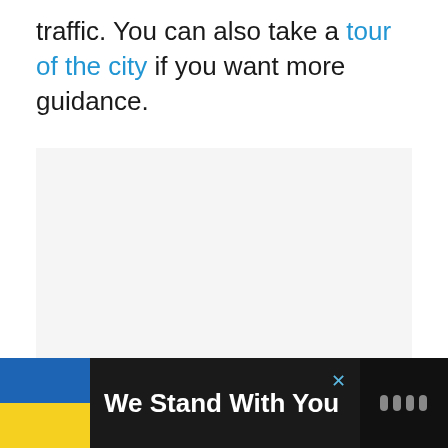traffic. You can also take a tour of the city if you want more guidance.
[Figure (other): Large light gray placeholder/image block]
We Stand With You